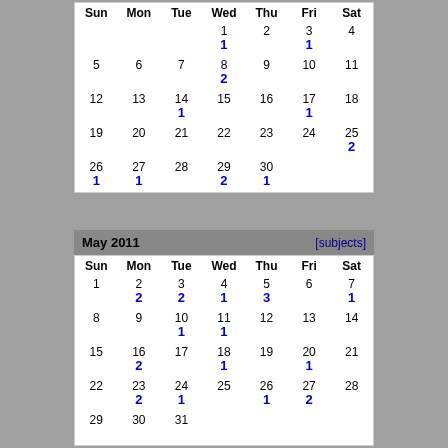| Sun | Mon | Tue | Wed | Thu | Fri | Sat |
| --- | --- | --- | --- | --- | --- | --- |
|  |  |  | 1 (1) | 2 | 3 (1) | 4 |
| 5 | 6 | 7 | 8 (2) | 9 | 10 | 11 |
| 12 | 13 | 14 (1) | 15 | 16 | 17 (1) | 18 |
| 19 | 20 | 21 | 22 | 23 | 24 | 25 (2) |
| 26 (1) | 27 (1) | 28 | 29 (2) | 30 (1) |  |  |
| Sun | Mon | Tue | Wed | Thu | Fri | Sat |
| --- | --- | --- | --- | --- | --- | --- |
| 1 | 2 (2) | 3 (2) | 4 (1) | 5 (3) | 6 | 7 (1) |
| 8 | 9 | 10 (1) | 11 (1) | 12 | 13 | 14 |
| 15 | 16 (2) | 17 | 18 (1) | 19 | 20 (1) | 21 |
| 22 | 23 (2) | 24 (1) | 25 | 26 (1) | 27 (2) | 28 |
| 29 | 30 | 31 |  |  |  |  |